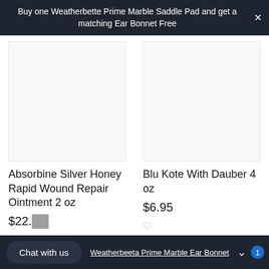Buy one Weatherbette Prime Marble Saddle Pad and get a matching Ear Bonnet Free
Absorbine Silver Honey Rapid Wound Repair Ointment 2 oz
$22.
Blu Kote With Dauber 4 oz
$6.95
Chat with us
Weatherbeeta Prime Marble Ear Bonnet